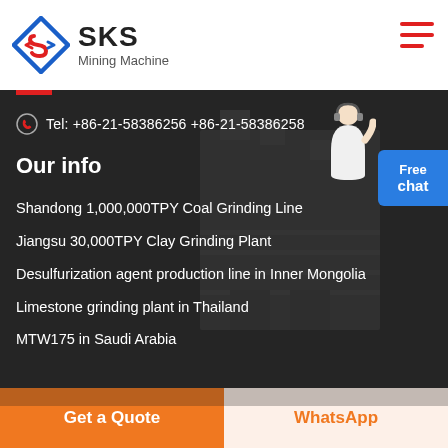[Figure (logo): SKS Mining Machine logo with diamond/arrow icon in blue and red]
Tel: +86-21-58386256 +86-21-58386258
Our info
Shandong 1,000,000TPY Coal Grinding Line
Jiangsu 30,000TPY Clay Grinding Plant
Desulfurization agent production line in Inner Mongolia
Limestone grinding plant in Thailand
MTW175 in Saudi Arabia
Get a Quote
WhatsApp